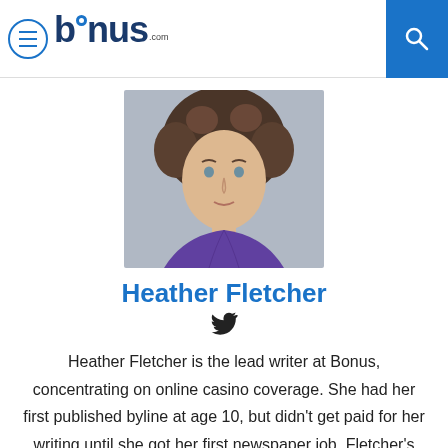bonus.com
[Figure (photo): Headshot portrait of Heather Fletcher, a woman with curly hair, wearing a purple top, against a grey background]
Heather Fletcher
[Figure (other): Twitter bird icon]
Heather Fletcher is the lead writer at Bonus, concentrating on online casino coverage. She had her first published byline at age 10, but didn't get paid for her writing until she got her first newspaper job. Fletcher's newspaper career started at Suburban News Publications in Ohio and eventually took her to The New York Times,